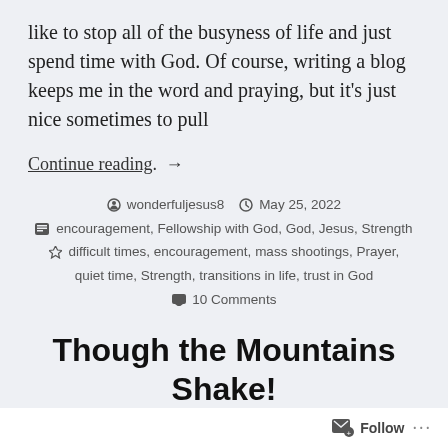like to stop all of the busyness of life and just spend time with God. Of course, writing a blog keeps me in the word and praying, but it's just nice sometimes to pull
Continue reading. →
wonderfuljesus8  May 25, 2022  encouragement, Fellowship with God, God, Jesus, Strength  difficult times, encouragement, mass shootings, Prayer, quiet time, Strength, transitions in life, trust in God  10 Comments
Though the Mountains Shake!